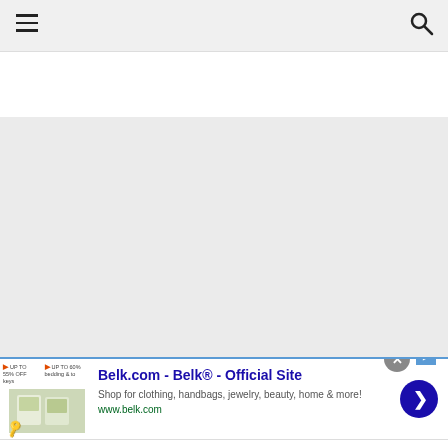[Figure (screenshot): Website navigation bar with hamburger menu icon on the left and search icon on the right, on a light gray background]
[Figure (screenshot): Large gray placeholder content area, likely a loading or empty state]
[Figure (screenshot): Advertisement banner for Belk.com with thumbnail images, title 'Belk.com - Belk® - Official Site', description 'Shop for clothing, handbags, jewelry, beauty, home & more!', URL www.belk.com, blue circle arrow button, and close button]